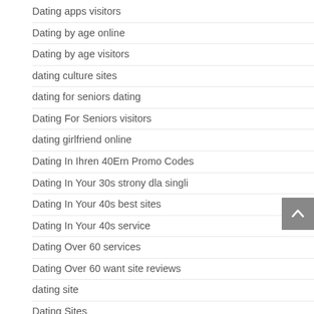Dating apps visitors
Dating by age online
Dating by age visitors
dating culture sites
dating for seniors dating
Dating For Seniors visitors
dating girlfriend online
Dating In Ihren 40Ern Promo Codes
Dating In Your 30s strony dla singli
Dating In Your 40s best sites
Dating In Your 40s service
Dating Over 60 services
Dating Over 60 want site reviews
dating site
Dating Sites